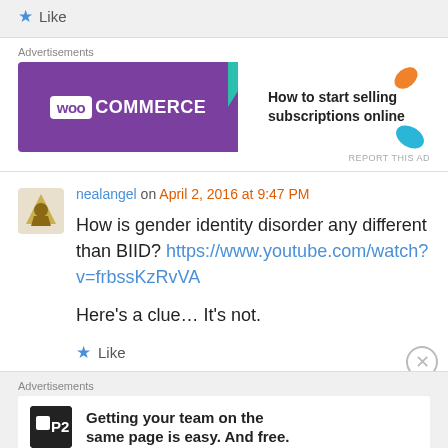Like
Advertisements
[Figure (illustration): WooCommerce advertisement banner: purple background with WooCommerce logo on left, teal arrow, white right side with text 'How to start selling subscriptions online', orange and blue leaf decorations]
REPORT THIS AD
nealangel on April 2, 2016 at 9:47 PM
How is gender identity disorder any different than BIID? https://www.youtube.com/watch?v=frbssKzRvVA

Here's a clue… It's not.
Like
Advertisements
[Figure (illustration): P2 advertisement: black P2 logo box on left, bold text 'Getting your team on the same page is easy. And free.']
REPORT THIS AD